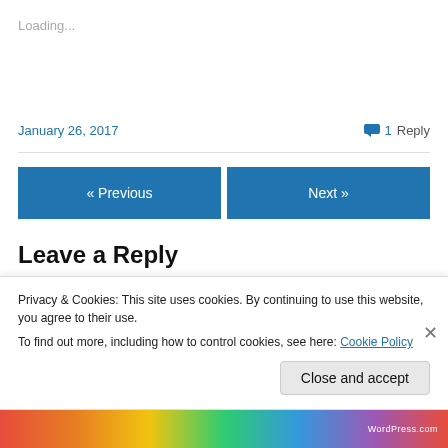Loading...
January 26, 2017
1 Reply
« Previous
Next »
Leave a Reply
Privacy & Cookies: This site uses cookies. By continuing to use this website, you agree to their use.
To find out more, including how to control cookies, see here: Cookie Policy
Close and accept